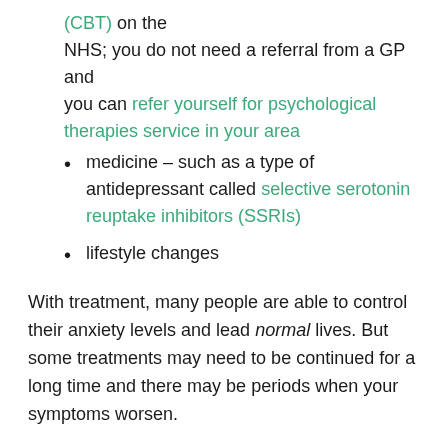(CBT) on the NHS; you do not need a referral from a GP and you can refer yourself for psychological therapies service in your area
medicine – such as a type of antidepressant called selective serotonin reuptake inhibitors (SSRIs)
lifestyle changes
With treatment, many people are able to control their anxiety levels and lead normal lives. But some treatments may need to be continued for a long time and there may be periods when your symptoms worsen.